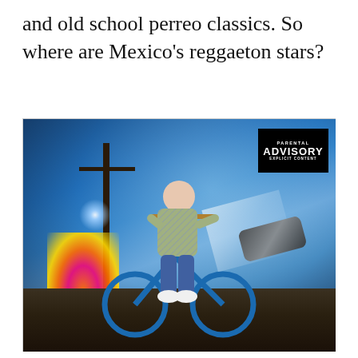and old school perreo classics. So where are Mexico's reggaeton stars?
[Figure (photo): Album art showing a young boy riding a BMX bicycle on a street, with dramatic sky, explosion/fire in background, floating car with light beams, power pole with sparks, and a Parental Advisory Explicit Content label in the top right corner.]